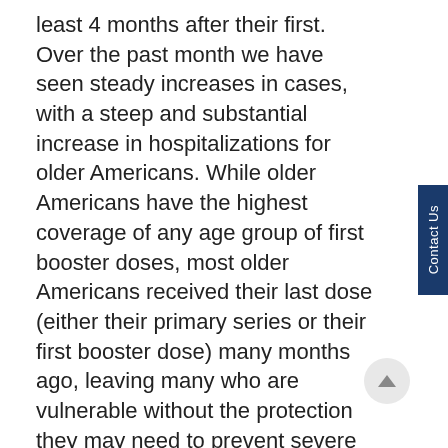least 4 months after their first. Over the past month we have seen steady increases in cases, with a steep and substantial increase in hospitalizations for older Americans. While older Americans have the highest coverage of any age group of first booster doses, most older Americans received their last dose (either their primary series or their first booster dose) many months ago, leaving many who are vulnerable without the protection they may need to prevent severe disease, hospitalization, and death.
Whether it is your first booster, or your second, if you haven't had a vaccine dose since the beginning of December 2021 and you are eligible, now is the time to get one.
The following is attributable to CDC Director,